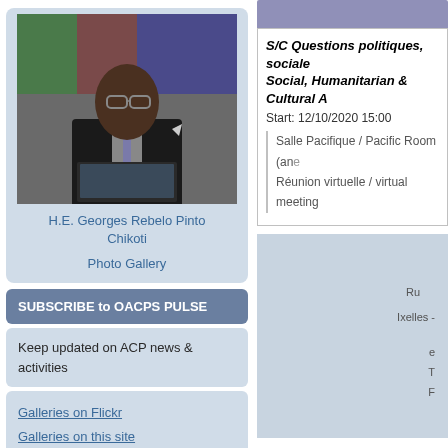[Figure (photo): Photo of H.E. Georges Rebelo Pinto Chikoti speaking at a podium with flags in background]
H.E. Georges Rebelo Pinto Chikoti
Photo Gallery
SUBSCRIBE to OACPS PULSE
Keep updated on ACP news & activities
Galleries on Flickr
Galleries on this site
Announcements
International call for tenders for
S/C Questions politiques, sociales... / Social, Humanitarian & Cultural A...
Start: 12/10/2020 15:00
Salle Pacifique / Pacific Room (an...
Réunion virtuelle / virtual meeting
Ru
Ixelles -
e
T
F